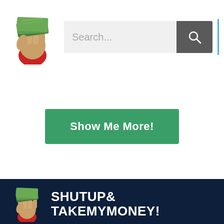[Figure (logo): Hand holding money logo for ShutUpAndTakeMyMoney in header]
[Figure (screenshot): Search bar with gray background and dark gray search button with magnifying glass icon]
Show Me More!
[Figure (logo): Hand holding money logo in dark navy footer]
SHUTUP& TAKEMYMONEY!
ShutUpAndTakeMyMoney.com displays the world's greatest